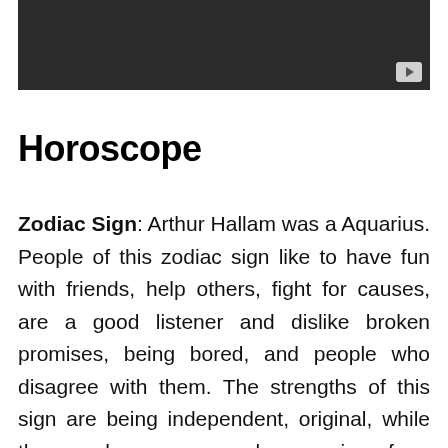[Figure (screenshot): Dark video thumbnail with a YouTube-style play button in the bottom-right corner]
Horoscope
Zodiac Sign: Arthur Hallam was a Aquarius. People of this zodiac sign like to have fun with friends, help others, fight for causes, are a good listener and dislike broken promises, being bored, and people who disagree with them. The strengths of this sign are being independent, original, while the weaknesses can be running from emotional expression,